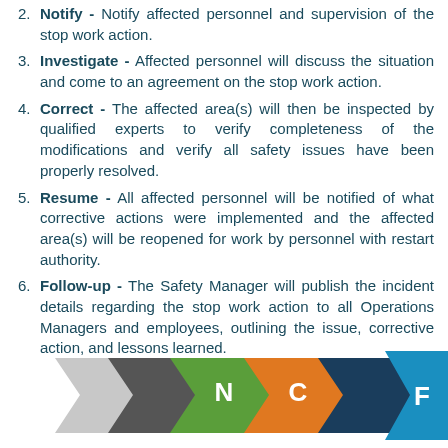2. Notify - Notify affected personnel and supervision of the stop work action.
3. Investigate - Affected personnel will discuss the situation and come to an agreement on the stop work action.
4. Correct - The affected area(s) will then be inspected by qualified experts to verify completeness of the modifications and verify all safety issues have been properly resolved.
5. Resume - All affected personnel will be notified of what corrective actions were implemented and the affected area(s) will be reopened for work by personnel with restart authority.
6. Follow-up - The Safety Manager will publish the incident details regarding the stop work action to all Operations Managers and employees, outlining the issue, corrective action, and lessons learned.
[Figure (infographic): Bottom partial infographic showing colored arrow/chevron shapes in gray, dark gray, green, orange, dark blue, and light blue, with partial letter labels N, C, F visible.]